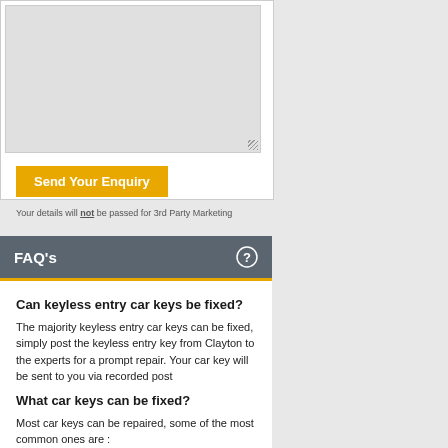[Figure (other): Text area input field (form element, grey background)]
Send Your Enquiry
Your details will not be passed for 3rd Party Marketing
FAQ's
Can keyless entry car keys be fixed?
The majority keyless entry car keys can be fixed, simply post the keyless entry key from Clayton to the experts for a prompt repair. Your car key will be sent to you via recorded post
What car keys can be fixed?
Most car keys can be repaired, some of the most common ones are :
» Alfa Romeo
» Aston Martin